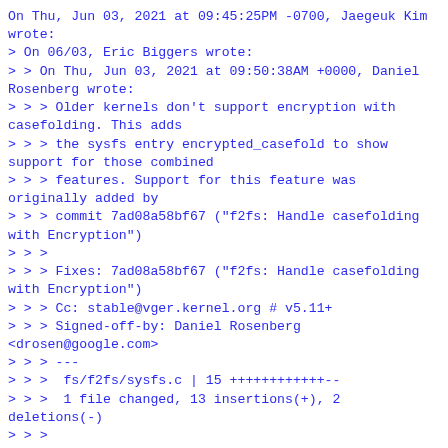On Thu, Jun 03, 2021 at 09:45:25PM -0700, Jaegeuk Kim wrote:
> On 06/03, Eric Biggers wrote:
> > On Thu, Jun 03, 2021 at 09:50:38AM +0000, Daniel Rosenberg wrote:
> > > Older kernels don't support encryption with casefolding. This adds
> > > the sysfs entry encrypted_casefold to show support for those combined
> > > features. Support for this feature was originally added by
> > > commit 7ad08a58bf67 ("f2fs: Handle casefolding with Encryption")
> > >
> > > Fixes: 7ad08a58bf67 ("f2fs: Handle casefolding with Encryption")
> > > Cc: stable@vger.kernel.org # v5.11+
> > > Signed-off-by: Daniel Rosenberg <drosen@google.com>
> > > ---
> > >  fs/f2fs/sysfs.c | 15 ++++++++++++--
> > >  1 file changed, 13 insertions(+), 2 deletions(-)
> > >
> > > diff --git a/fs/f2fs/sysfs.c b/fs/f2fs/sysfs.c
> > > index 09e3f258eb52..6604291a3cdf 100644
> > > --- a/fs/f2fs/sysfs.c
> > > +++ b/fs/f2fs/sysfs.c
> > > @@ -161,6 +161,9 @@ static ssize_t features_show(struct f2fs_attr *a,